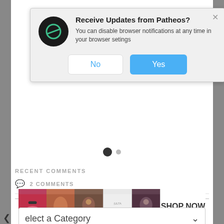[Figure (screenshot): Browser push notification popup: 'Receive Updates from Patheos?' with Patheos logo, subtitle 'You can disable browser notifications at any time in your browser setings', and two buttons: 'No' (white) and 'Yes' (blue).]
[Figure (other): Carousel pagination dots: one large filled dark circle and one smaller grey circle]
RECENT COMMENTS
2 COMMENTS
BROWSE OUR ARCHIVES
[Figure (screenshot): Dropdown selector labeled 'Select a Category' with chevron icons on both sides]
[Figure (photo): Ulta Beauty advertisement banner with makeup imagery and 'SHOP NOW' text]